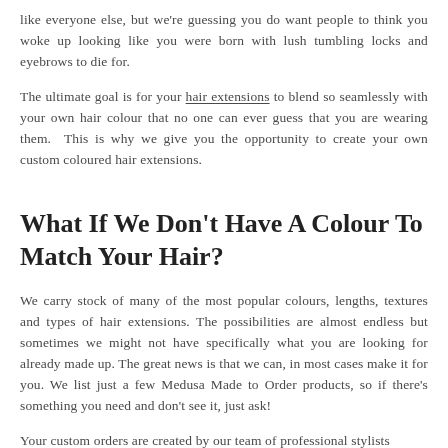like everyone else, but we're guessing you do want people to think you woke up looking like you were born with lush tumbling locks and eyebrows to die for.
The ultimate goal is for your hair extensions to blend so seamlessly with your own hair colour that no one can ever guess that you are wearing them. This is why we give you the opportunity to create your own custom coloured hair extensions.
What If We Don't Have A Colour To Match Your Hair?
We carry stock of many of the most popular colours, lengths, textures and types of hair extensions. The possibilities are almost endless but sometimes we might not have specifically what you are looking for already made up. The great news is that we can, in most cases make it for you. We list just a few Medusa Made to Order products, so if there's something you need and don't see it, just ask!
Your custom orders are created by our team of professional stylists